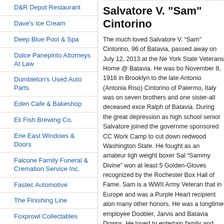D&R Depot Restaurant
Dave's Ice Cream
Deep Blue Pool & Spa
Dolce Panepinto Attorneys At Law
Dumbleton's Used Auto Parts
Eden Cafe & Bakeshop
Eli Fish Brewing Co.
Erie East Windows & Doors
Falcone Family Funeral & Cremation Service Inc.
Fastec Automotive
The Finishing Line
Foxprowl Collectables
Frontier Kitchen
GCASA
Genesee Community College
Genesee Dental Group
Georgia Pacific - Batavia
Salvatore V. "Sam" Cintorino
The much loved Salvatore V. “Sam” Cintorino, 96 of Batavia, passed away on July 12, 2013 at the New York State Veterans Home @ Batavia. He was born November 8, 1916 in Brooklyn to the late Antonio and (Antonia Riso) Cintorino of Palermo, Italy was one of seven brothers and one sister-all deceased except brother Ralph of Batavia. During the great depression as a high school senior Salvatore joined the government sponsored CC Work Camp to cut down redwood trees in Washington State. He fought as an amateur light-weight boxer Sal “Sammy Divine” won at least 5 Golden-Gloves recognized by the Rochester Boxing Hall of Fame. Sam is a WWII Army Veteran that fought in Europe and was a Purple Heart recipient along with many other honors. He was a longtime employee of Doobler, Jarvis and Batavia Downs. He loved to entertain family and friends with his harmonica, he was a card playing member of the St. Nicholas Social C...